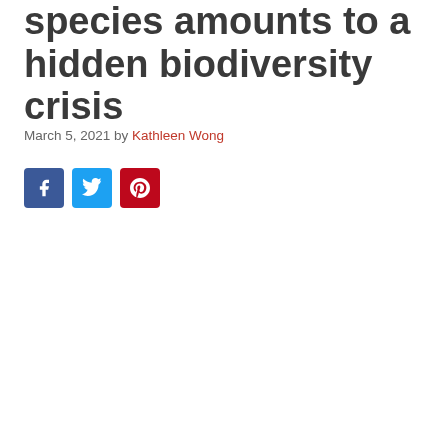species amounts to a hidden biodiversity crisis
March 5, 2021 by Kathleen Wong
[Figure (other): Social share buttons: Facebook (blue), Twitter (light blue), Pinterest (red)]